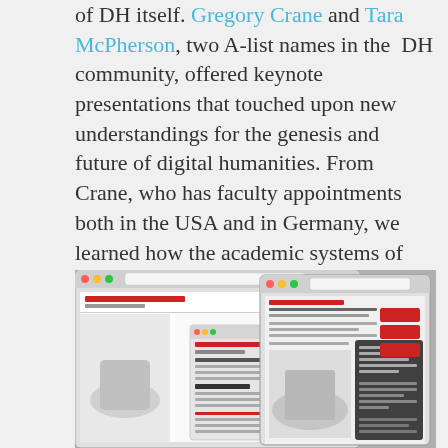of DH itself. Gregory Crane and Tara McPherson, two A-list names in the DH community, offered keynote presentations that touched upon new understandings for the genesis and future of digital humanities. From Crane, who has faculty appointments both in the USA and in Germany, we learned how the academic systems of our two countries differ. For example, in Germany, even without the advent of digital applications, the Humanities are Wissenschaft and occupy a priority space on par with the sciences. This gives them access to a great number of government funding opportunities.
[Figure (screenshot): Screenshots of two browser windows showing 'The Knotted Line' digital humanities website, with text, images, and interface elements visible.]